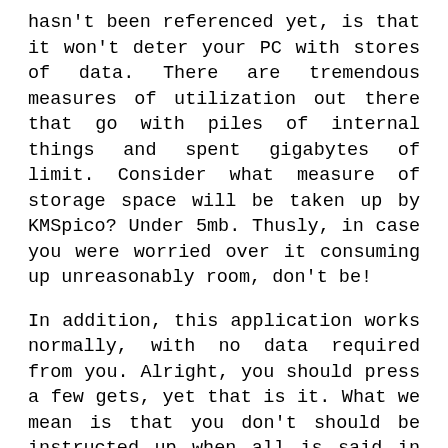hasn't been referenced yet, is that it won't deter your PC with stores of data. There are tremendous measures of utilization out there that go with piles of internal things and spent gigabytes of limit. Consider what measure of storage space will be taken up by KMSpico? Under 5mb. Thusly, in case you were worried over it consuming up unreasonably room, don't be!
In addition, this application works normally, with no data required from you. Alright, you should press a few gets, yet that is it. What we mean is that you don't should be instructed up when all is said in done activation technique and how KMS advancement capacities. Genuinely, when you run the application, you click a catch and it completely deals with you.